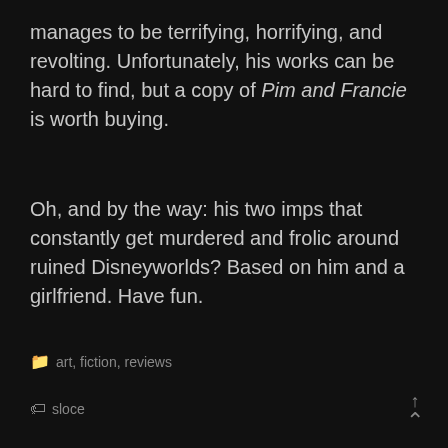manages to be terrifying, horrifying, and revolting. Unfortunately, his works can be hard to find, but a copy of Pim and Francie is worth buying.
Oh, and by the way: his two imps that constantly get murdered and frolic around ruined Disneyworlds? Based on him and a girlfriend. Have fun.
art, fiction, reviews
sloce